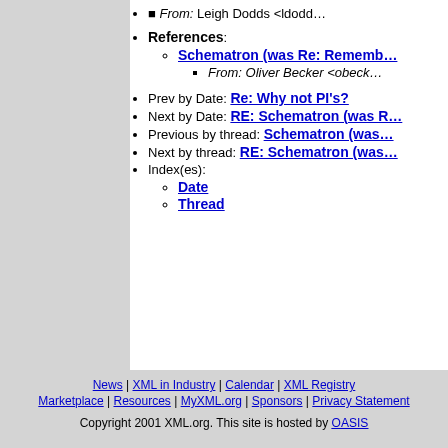References: Schematron (was Re: Rememb... — From: Oliver Becker <obeck...
Prev by Date: Re: Why not PI's?
Next by Date: RE: Schematron (was R...
Previous by thread: Schematron (was...
Next by thread: RE: Schematron (was...
Index(es): Date, Thread
News | XML in Industry | Calendar | XML Registry | Marketplace | Resources | MyXML.org | Sponsors | Privacy Statement
Copyright 2001 XML.org. This site is hosted by OASIS